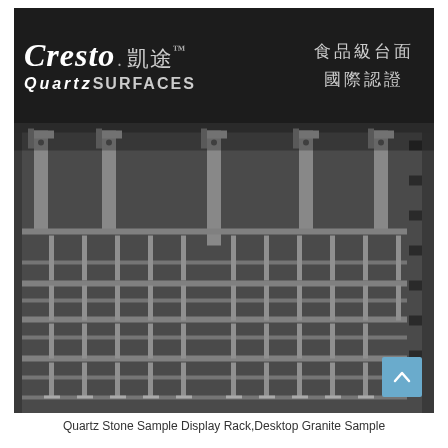[Figure (photo): A metal quartz stone sample display rack (Desktop Granite Sample Display Rack) branded with 'Cresto. 凱途™ QuartzSURFACES' and Chinese text '食品級台面 國際認證'. The rack is dark-colored with a grid of metal dividers for holding stone sample slabs, photographed in black and white/grayscale.]
Quartz Stone Sample Display Rack,Desktop Granite Sample